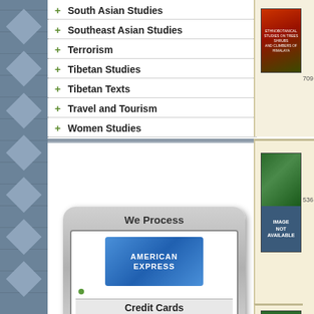+ South Asian Studies
+ Southeast Asian Studies
+ Terrorism
+ Tibetan Studies
+ Tibetan Texts
+ Travel and Tourism
+ Women Studies
[Figure (logo): We Process American Express Credit Cards widget with silver rounded rectangle frame and American Express blue logo]
[Figure (photo): Ethnobotanical Studies on Trees Shrubs and Climbers of Himalaya book cover - red and green]
Ethnobotanical... Himalaya
Sood, S.K.;
Year of Pub
ISBN : 81-89...
A vital reference for researchers universitites
Book Code : 34709
Price : US$
[Figure (photo): Book cover with IMAGE NOT AVAILABLE overlay]
Ethnobotanical...
Chandra, J.;
Year of Pub
ISBN : 81-21...
..
Price : US$
Book Code : 17536
[Figure (photo): Book cover with IMAGE NOT AVAILABLE overlay]
Ethnobotanical...
Singh, K.K.;
Year of Pub
ISBN : 81-21...